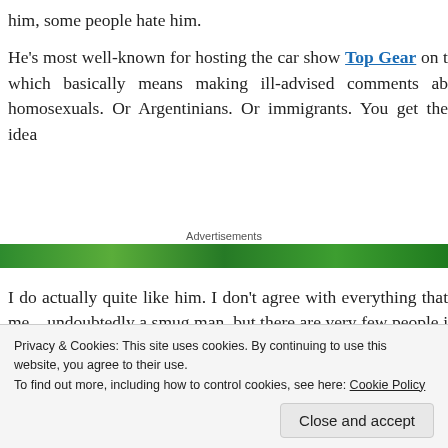him, some people hate him.
He’s most well-known for hosting the car show Top Gear on t which basically means making ill-advised comments ab homosexuals. Or Argentinians. Or immigrants. You get the idea
[Figure (other): Advertisements banner — green gradient bar]
I do actually quite like him. I don’t agree with everything that me – undoubtedly a smug man, but there are very few people i actually say what they want and refuse to apologise afterv Cumberbatch apologised for the “coloured people” gaff. He ho
Privacy & Cookies: This site uses cookies. By continuing to use this website, you agree to their use.
To find out more, including how to control cookies, see here: Cookie Policy